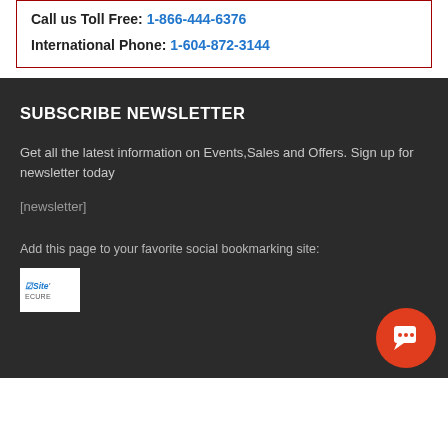Call us Toll Free: 1-866-444-6376
International Phone: 1-604-872-3144
SUBSCRIBE NEWSLETTER
Get all the latest information on Events,Sales and Offers. Sign up for newsletter today
[newsletter]
Add this page to your favorite social bookmarking site:
[Figure (logo): Trusted Site Secure badge]
[Figure (illustration): Orange chat/message button with speech bubble icon]